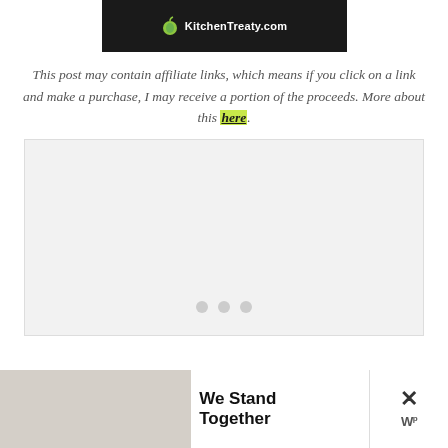[Figure (logo): KitchenTreaty.com logo on dark background with apple icon]
This post may contain affiliate links, which means if you click on a link and make a purchase, I may receive a portion of the proceeds. More about this here.
[Figure (other): Advertisement placeholder with three loading dots]
[Figure (other): We Stand Together advertisement banner at bottom of page]